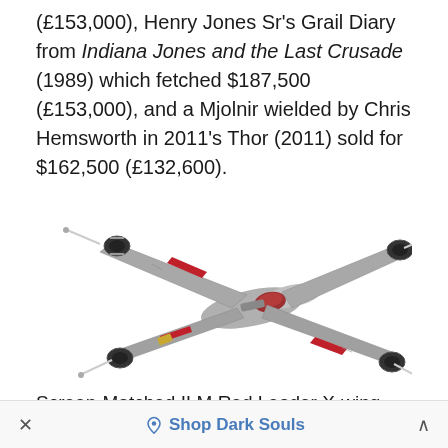(£153,000), Henry Jones Sr's Grail Diary from Indiana Jones and the Last Crusade (1989) which fetched $187,500 (£153,000), and a Mjolnir wielded by Chris Hemsworth in 2011's Thor (2011) sold for $162,500 (£132,600).
[Figure (photo): Screen-matched ILM Red Leader X-wing model spacecraft prop from Star Wars, photographed against white background, showing detailed aging and weathering on the model with four engines arranged in X configuration.]
Screen-Matched ILM Red Leader X-wing Model-
× ◇ Shop Dark Souls ^